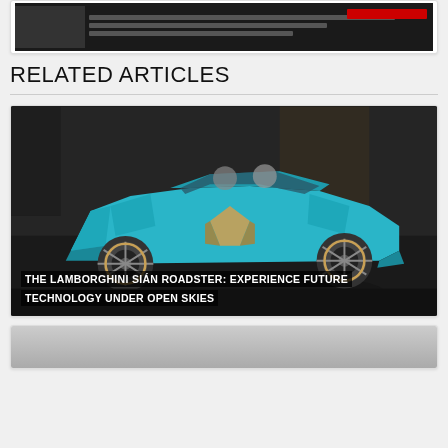[Figure (screenshot): Partial view of an article card with dark background and red bar element]
RELATED ARTICLES
[Figure (photo): Lamborghini Sián Roadster in teal/blue color shown in a dark studio setting]
THE LAMBORGHINI SIÁN ROADSTER: EXPERIENCE FUTURE TECHNOLOGY UNDER OPEN SKIES
[Figure (photo): Partial view of another article card at the bottom of the page]